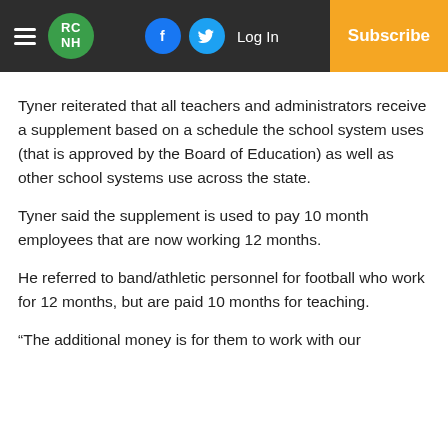RC NH | Log In | Subscribe
Tyner reiterated that all teachers and administrators receive a supplement based on a schedule the school system uses (that is approved by the Board of Education) as well as other school systems use across the state.
Tyner said the supplement is used to pay 10 month employees that are now working 12 months.
He referred to band/athletic personnel for football who work for 12 months, but are paid 10 months for teaching.
“The additional money is for them to work with our